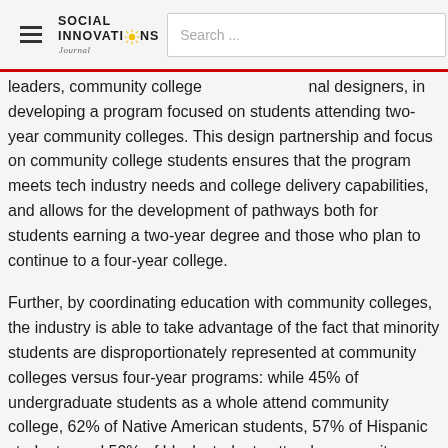Social Innovations Journal — Search bar
leaders, community college … nal designers, in developing a program focused on students attending two-year community colleges. This design partnership and focus on community college students ensures that the program meets tech industry needs and college delivery capabilities, and allows for the development of pathways both for students earning a two-year degree and those who plan to continue to a four-year college.
Further, by coordinating education with community colleges, the industry is able to take advantage of the fact that minority students are disproportionately represented at community colleges versus four-year programs: while 45% of undergraduate students as a whole attend community college, 62% of Native American students, 57% of Hispanic students, and [?]% of [black students attend community college]